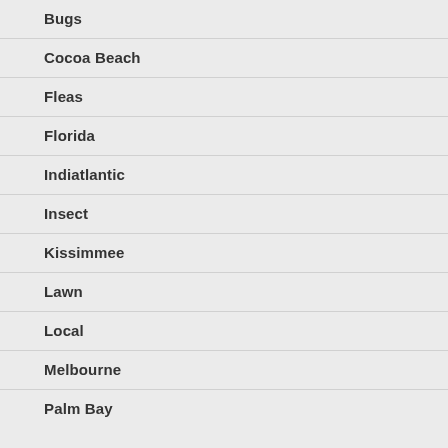Bugs
Cocoa Beach
Fleas
Florida
Indiatlantic
Insect
Kissimmee
Lawn
Local
Melbourne
Palm Bay